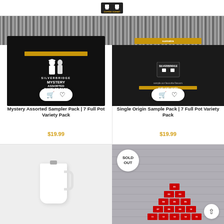Coffee Summit logo
[Figure (photo): Mystery Assorted Sampler Pack box with silver foil packets and black art deco branded packaging showing SILVERBRIDGE MYSTERY ASSORTED SAMPLER PACK, with add to cart and wishlist buttons overlay]
Mystery Assorted Sampler Pack | 7 Full Pot Variety Pack
$19.99
[Figure (photo): Single Origin Sample Pack box with silver foil packets and black packaging showing SILVERBRIDGE branding with sumatra label, with add to cart and wishlist buttons overlay]
Single Origin Sample Pack | 7 Full Pot Variety Pack
$19.99
[Figure (photo): White ceramic coffee mug with handle on light grey background]
[Figure (photo): Advent calendar pyramid of small red coffee packets labeled DAY-1 through DAY-25 stacked against a brick wall background, with SOLD OUT badge overlay and scroll-to-top button]